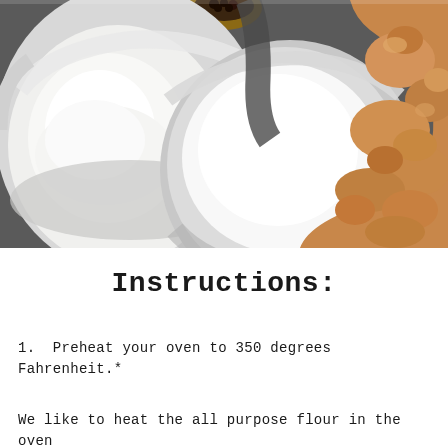[Figure (photo): Overhead view of baking ingredients: a white bowl filled with white all-purpose flour on the left, a white bowl with white granulated sugar in the center, and a pile of brown sugar on the right, all on a dark gray surface with a small wooden bowl of dark items visible at the top center.]
Instructions:
1.  Preheat your oven to 350 degrees Fahrenheit.*
We like to heat the all purpose flour in the oven